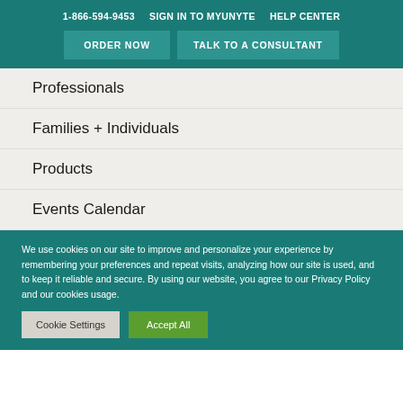1-866-594-9453   SIGN IN TO MYUNYTE   HELP CENTER
ORDER NOW   TALK TO A CONSULTANT
Professionals
Families + Individuals
Products
Events Calendar
We use cookies on our site to improve and personalize your experience by remembering your preferences and repeat visits, analyzing how our site is used, and to keep it reliable and secure. By using our website, you agree to our Privacy Policy and our cookies usage.
Cookie Settings   Accept All